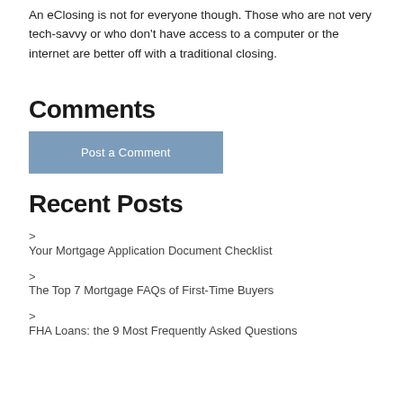An eClosing is not for everyone though. Those who are not very tech-savvy or who don't have access to a computer or the internet are better off with a traditional closing.
Comments
Post a Comment
Recent Posts
Your Mortgage Application Document Checklist
The Top 7 Mortgage FAQs of First-Time Buyers
FHA Loans: the 9 Most Frequently Asked Questions